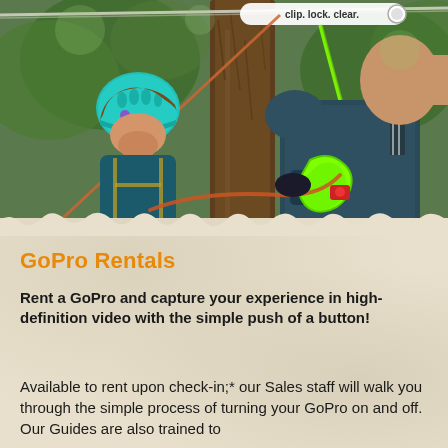[Figure (photo): Outdoor zipline/ropes course scene showing a child wearing a teal helmet looking up at a guide/instructor wearing safety harness equipment with green carabiners. Trees and ropes visible in the background. A banner at the top reads 'clip. lock. clear.']
GoPro Rentals
Rent a GoPro and capture your experience in high-definition video with the simple push of a button!
Available to rent upon check-in;* our Sales staff will walk you through the simple process of turning your GoPro on and off. Our Guides are also trained to